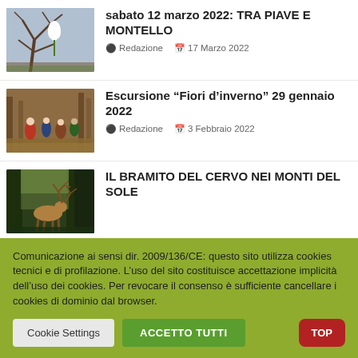[Figure (photo): Photo of a white flower (snowdrop) on a bare tree branch in a forest]
sabato 12 marzo 2022: TRA PIAVE E MONTELLO
Redazione   17 Marzo 2022
[Figure (photo): Photo of a group of hikers walking through a forested hillside in winter]
Escursione “Fiori d’inverno” 29 gennaio 2022
Redazione   3 Febbraio 2022
[Figure (photo): Photo of a deer (stag) in a forested mountain setting]
IL BRAMITO DEL CERVO NEI MONTI DEL SOLE
Comunicazione ai sensi dir. 2009/136/CE: questo sito utilizza cookies tecnici e di profilazione. L’uso del sito costituisce accettazione implicità dell’uso dei cookies. Per revocare il consenso è sufficiente cancellare i cookies di dominio dal browser.
Cookie Settings
ACCETTO TUTTI
TOP